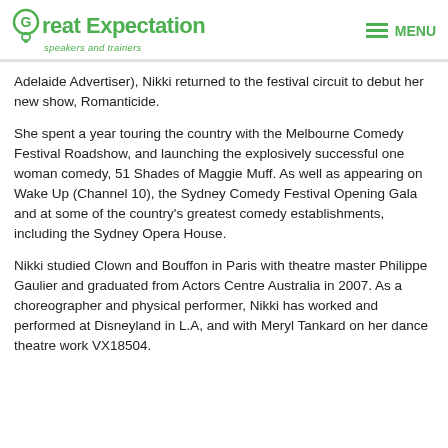Great Expectation speakers and trainers | MENU
Adelaide Advertiser), Nikki returned to the festival circuit to debut her new show, Romanticide.
She spent a year touring the country with the Melbourne Comedy Festival Roadshow, and launching the explosively successful one woman comedy, 51 Shades of Maggie Muff. As well as appearing on Wake Up (Channel 10), the Sydney Comedy Festival Opening Gala and at some of the country's greatest comedy establishments, including the Sydney Opera House.
Nikki studied Clown and Bouffon in Paris with theatre master Philippe Gaulier and graduated from Actors Centre Australia in 2007. As a choreographer and physical performer, Nikki has worked and performed at Disneyland in L.A, and with Meryl Tankard on her dance theatre work VX18504.